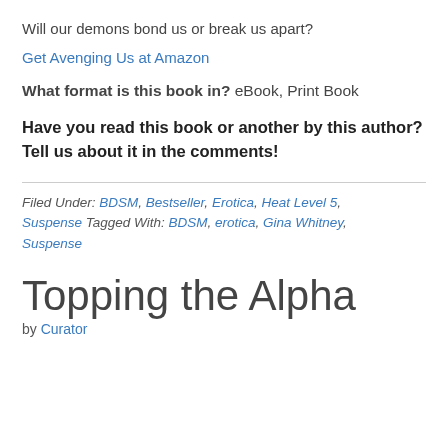Will our demons bond us or break us apart?
Get Avenging Us at Amazon
What format is this book in? eBook, Print Book
Have you read this book or another by this author? Tell us about it in the comments!
Filed Under: BDSM, Bestseller, Erotica, Heat Level 5, Suspense Tagged With: BDSM, erotica, Gina Whitney, Suspense
Topping the Alpha
by Curator